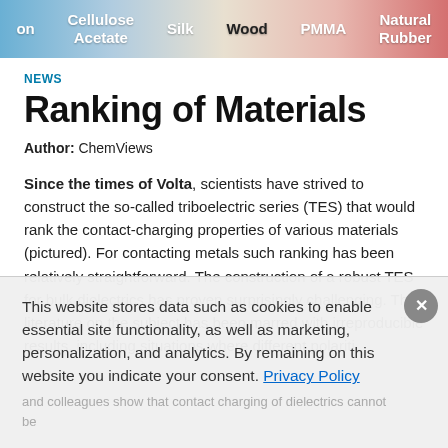[Figure (infographic): Triboelectric series banner showing materials from left to right: (Nyl)on, Cellulose Acetate, Silk, Wood, PMMA, Natural Rubber, colored with a blue-to-red gradient]
NEWS
Ranking of Materials
Author: ChemViews
Since the times of Volta, scientists have strived to construct the so-called triboelectric series (TES) that would rank the contact-charging properties of various materials (pictured). For contacting metals such ranking has been relatively straightforward. The construction of a robust TES for bulk dielectrics has proven surprisingly challenging. The literature on the subject has been marred with irreproducible results, including situations where different polarities
This website stores data such as cookies to enable essential site functionality, as well as marketing, personalization, and analytics. By remaining on this website you indicate your consent. Privacy Policy
and colleagues show that contact charging of dielectrics cannot be